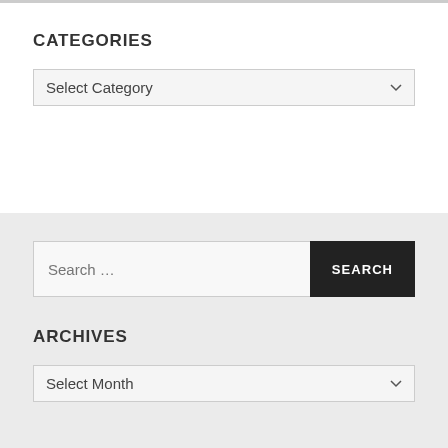CATEGORIES
Select Category
Search ...
ARCHIVES
Select Month